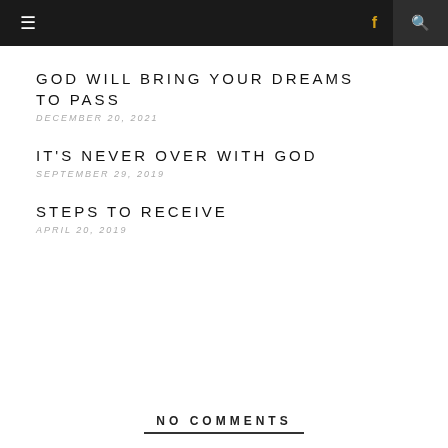≡  f  🔍
GOD WILL BRING YOUR DREAMS TO PASS
DECEMBER 20, 2021
IT'S NEVER OVER WITH GOD
SEPTEMBER 29, 2019
STEPS TO RECEIVE
APRIL 20, 2019
NO COMMENTS